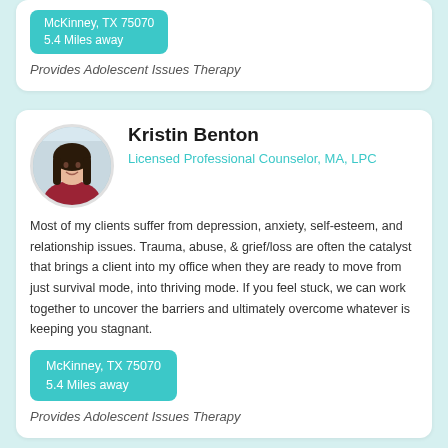McKinney, TX 75070
5.4 Miles away
Provides Adolescent Issues Therapy
[Figure (photo): Circular avatar photo of Kristin Benton, a woman with long dark hair wearing a red/maroon top, seated, smiling.]
Kristin Benton
Licensed Professional Counselor, MA, LPC
Most of my clients suffer from depression, anxiety, self-esteem, and relationship issues. Trauma, abuse, & grief/loss are often the catalyst that brings a client into my office when they are ready to move from just survival mode, into thriving mode. If you feel stuck, we can work together to uncover the barriers and ultimately overcome whatever is keeping you stagnant.
McKinney, TX 75070
5.4 Miles away
Provides Adolescent Issues Therapy